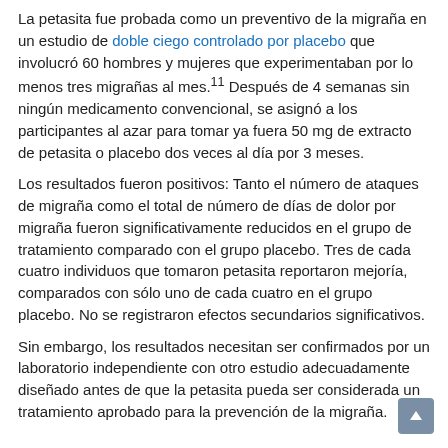La petasita fue probada como un preventivo de la migraña en un estudio de doble ciego controlado por placebo que involucró 60 hombres y mujeres que experimentaban por lo menos tres migrañas al mes.[11] Después de 4 semanas sin ningún medicamento convencional, se asignó a los participantes al azar para tomar ya fuera 50 mg de extracto de petasita o placebo dos veces al día por 3 meses.
Los resultados fueron positivos: Tanto el número de ataques de migraña como el total de número de días de dolor por migraña fueron significativamente reducidos en el grupo de tratamiento comparado con el grupo placebo. Tres de cada cuatro individuos que tomaron petasita reportaron mejoría, comparados con sólo uno de cada cuatro en el grupo placebo. No se registraron efectos secundarios significativos.
Sin embargo, los resultados necesitan ser confirmados por un laboratorio independiente con otro estudio adecuadamente diseñado antes de que la petasita pueda ser considerada un tratamiento aprobado para la prevención de la migraña.